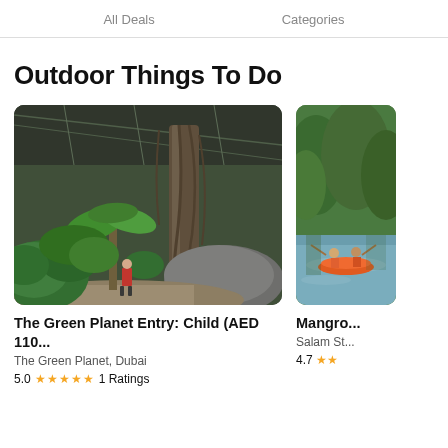All Deals   Categories
Outdoor Things To Do
[Figure (photo): Interior of The Green Planet biodome in Dubai showing tropical jungle vegetation, large trees, hanging roots, and a person in red outfit walking on a path]
The Green Planet Entry: Child (AED 110...
The Green Planet, Dubai
5.0 ★★★★★ 1 Ratings
[Figure (photo): Mangrove kayaking scene showing people in orange kayaks on a calm waterway surrounded by green mangrove trees]
Mangro...
Salam St...
4.7 ★★...